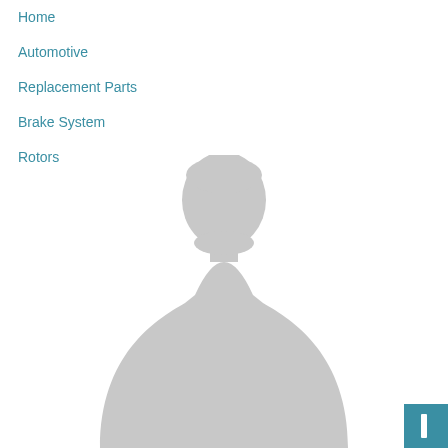Home
Automotive
Replacement Parts
Brake System
Rotors
[Figure (illustration): Silhouette of a person (placeholder avatar image) in light gray, shown from shoulders up with torso visible, centered in the lower half of the page. A teal/blue square button with a vertical bar icon is positioned at the bottom right corner.]